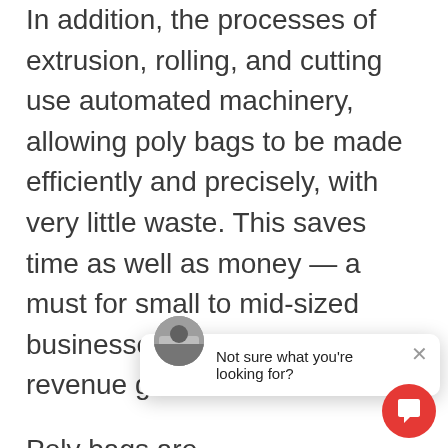In addition, the processes of extrusion, rolling, and cutting use automated machinery, allowing poly bags to be made efficiently and precisely, with very little waste. This saves time as well as money — a must for small to mid-sized businesses with ambitious revenue goals.
Poly bags are effective solution for detailed branding logos and text, especially when compared to other packaging materials available on the market